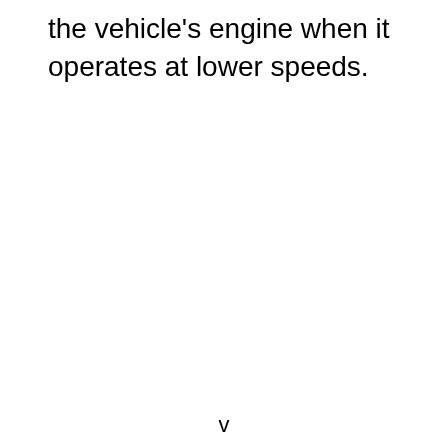the vehicle's engine when it operates at lower speeds.
v